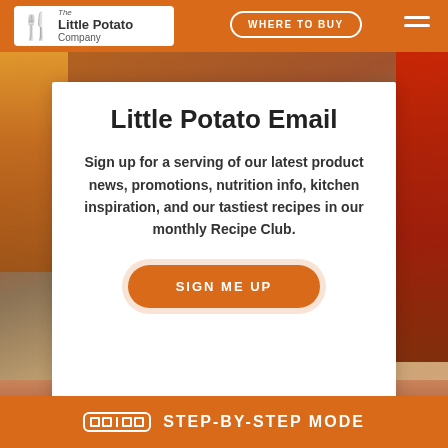[Figure (screenshot): Website screenshot of The Little Potato Company page with orange navigation bar at top showing logo, WHERE TO BUY button, and hamburger menu. Center white card with email signup content. Bottom orange bar with STEP-BY-STEP MODE label.]
Little Potato Email
Sign up for a serving of our latest product news, promotions, nutrition info, kitchen inspiration, and our tastiest recipes in our monthly Recipe Club.
SIGN ME UP
STEP-BY-STEP MODE